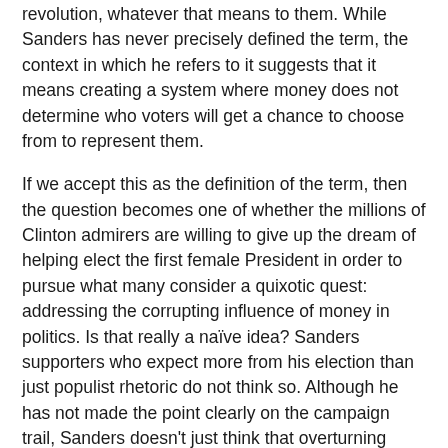revolution, whatever that means to them. While Sanders has never precisely defined the term, the context in which he refers to it suggests that it means creating a system where money does not determine who voters will get a chance to choose from to represent them.
If we accept this as the definition of the term, then the question becomes one of whether the millions of Clinton admirers are willing to give up the dream of helping elect the first female President in order to pursue what many consider a quixotic quest: addressing the corrupting influence of money in politics. Is that really a naïve idea? Sanders supporters who expect more from his election than just populist rhetoric do not think so. Although he has not made the point clearly on the campaign trail, Sanders doesn't just think that overturning Citizens United is just a good idea: He has been actively working on it for years. Furthermore, he has very specific ideas about how to do it.  Not only would match Clinton's promise to use a judge's willingness to reverse the decision as a litmus test for Supreme Court appointment, he has already been attacking it with a more direct approach.